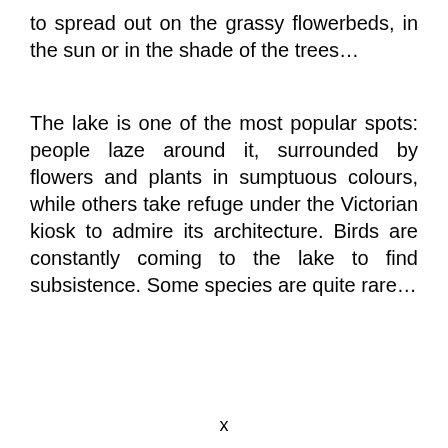to spread out on the grassy flowerbeds, in the sun or in the shade of the trees…
The lake is one of the most popular spots: people laze around it, surrounded by flowers and plants in sumptuous colours, while others take refuge under the Victorian kiosk to admire its architecture. Birds are constantly coming to the lake to find subsistence. Some species are quite rare…
x